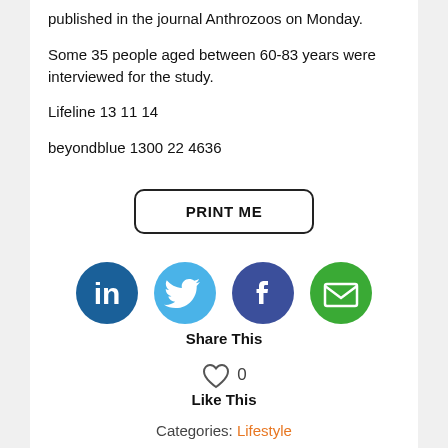published in the journal Anthrozoos on Monday.
Some 35 people aged between 60-83 years were interviewed for the study.
Lifeline 13 11 14
beyondblue 1300 22 4636
[Figure (other): PRINT ME button with rounded rectangle border]
[Figure (other): Social share icons: LinkedIn (blue circle with 'in'), Twitter (light blue circle with bird), Facebook (dark blue circle with 'f'), Email (green circle with envelope). Below: Share This label.]
[Figure (other): Heart icon with count 0 and Like This label below]
Categories: Lifestyle